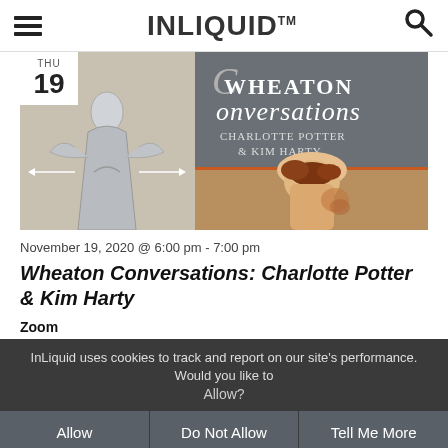INLIQUID™
[Figure (illustration): Wheaton Conversations event promotional image showing two panels: left panel with a figure in a metallic dress against a light background with 'THU 19' date badge, right panel with text 'Wheaton Conversations Charlotte Potter & Kim Harty' on gray background and a photo of a person's back with auburn hair.]
November 19, 2020 @ 6:00 pm - 7:00 pm
Wheaton Conversations: Charlotte Potter & Kim Harty
Zoom
InLiquid uses cookies to track and report on our site's performance. Would you like to Allow?
Allow
Do Not Allow
Tell Me More